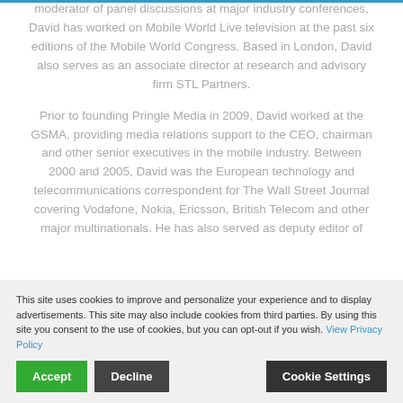moderator of panel discussions at major industry conferences, David has worked on Mobile World Live television at the past six editions of the Mobile World Congress. Based in London, David also serves as an associate director at research and advisory firm STL Partners.
Prior to founding Pringle Media in 2009, David worked at the GSMA, providing media relations support to the CEO, chairman and other senior executives in the mobile industry. Between 2000 and 2005, David was the European technology and telecommunications correspondent for The Wall Street Journal covering Vodafone, Nokia, Ericsson, British Telecom and other major multinationals. He has also served as deputy editor of
This site uses cookies to improve and personalize your experience and to display advertisements. This site may also include cookies from third parties. By using this site you consent to the use of cookies, but you can opt-out if you wish. View Privacy Policy